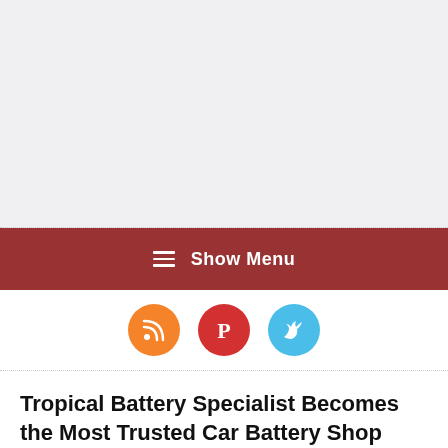[Figure (other): Gray advertisement placeholder area at the top of the page]
≡ Show Menu
[Figure (other): Social media icon buttons: RSS (orange), Pinterest (red), Twitter (blue)]
Tropical Battery Specialist Becomes the Most Trusted Car Battery Shop